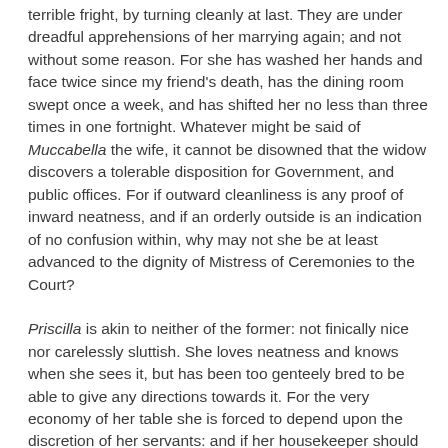terrible fright, by turning cleanly at last. They are under dreadful apprehensions of her marrying again; and not without some reason. For she has washed her hands and face twice since my friend's death, has the dining room swept once a week, and has shifted her no less than three times in one fortnight. Whatever might be said of Muccabella the wife, it cannot be disowned that the widow discovers a tolerable disposition for Government, and public offices. For if outward cleanliness is any proof of inward neatness, and if an orderly outside is an indication of no confusion within, why may not she be at least advanced to the dignity of Mistress of Ceremonies to the Court?
Priscilla is akin to neither of the former: not finically nice nor carelessly sluttish. She loves neatness and knows when she sees it, but has been too genteely bred to be able to give any directions towards it. For the very economy of her table she is forced to depend upon the discretion of her servants: and if her housekeeper should desert her, she would be as much puzzled to order a dinner, as a blind man could be to find out his way without a guide. This was a secret to her husband, till an unlucky accident brought him acquainted with it. One